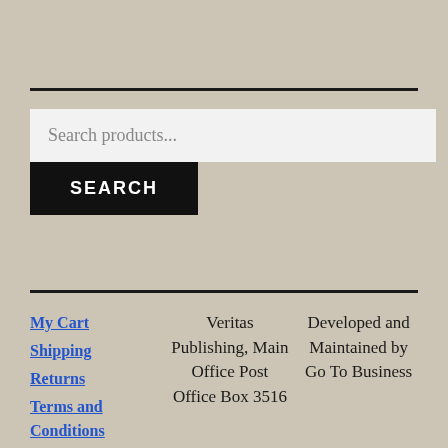Search products...
SEARCH
My Cart
Shipping
Returns
Terms and Conditions
Veritas Publishing, Main Office Post Office Box 3516
Developed and Maintained by Go To Business